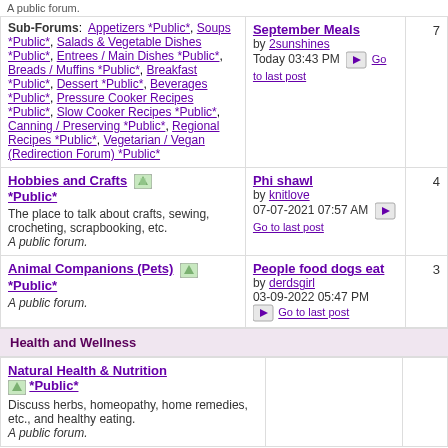A public forum.
Sub-Forums: Appetizers *Public*, Soups *Public*, Salads & Vegetable Dishes *Public*, Entrees / Main Dishes *Public*, Breads / Muffins *Public*, Breakfast *Public*, Dessert *Public*, Beverages *Public*, Pressure Cooker Recipes *Public*, Slow Cooker Recipes *Public*, Canning / Preserving *Public*, Regional Recipes *Public*, Vegetarian / Vegan (Redirection Forum) *Public*
September Meals by 2sunshines Today 03:43 PM Go to last post
7
Hobbies and Crafts *Public* The place to talk about crafts, sewing, crocheting, scrapbooking, etc. A public forum.
Phi shawl by knitlove 07-07-2021 07:57 AM Go to last post
4
Animal Companions (Pets) *Public* A public forum.
People food dogs eat by derdsgirl 03-09-2022 05:47 PM Go to last post
3
Health and Wellness
Natural Health & Nutrition *Public* Discuss herbs, homeopathy, home remedies, etc., and healthy eating. A public forum.